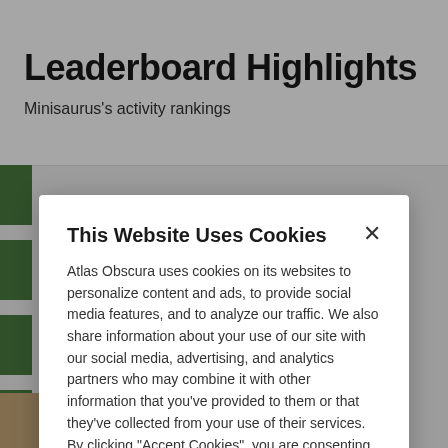Leaderboard Highlights
Minisaurus's activity rankings
This Website Uses Cookies
Atlas Obscura uses cookies on its websites to personalize content and ads, to provide social media features, and to analyze our traffic. We also share information about your use of our site with our social media, advertising, and analytics partners who may combine it with other information that you've provided to them or that they've collected from your use of their services. By clicking "Accept Cookies", you are consenting to use of cookies as described in our Cookie Policy. View Cookie Policy
Manage Preferences
Allow Cookies
MY PASSPORT